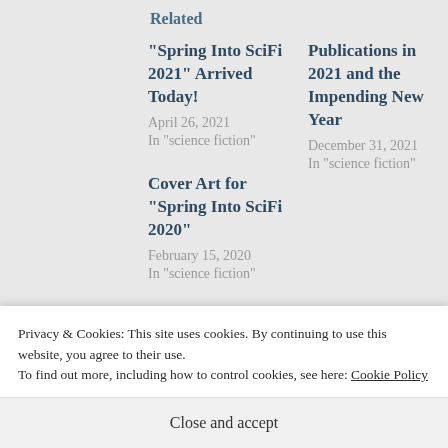Related
“Spring Into SciFi 2021” Arrived Today!
April 26, 2021
In "science fiction"
Publications in 2021 and the Impending New Year
December 31, 2021
In "science fiction"
Cover Art for “Spring Into SciFi 2020”
February 15, 2020
In "science fiction"
Privacy & Cookies: This site uses cookies. By continuing to use this website, you agree to their use.
To find out more, including how to control cookies, see here: Cookie Policy
Close and accept